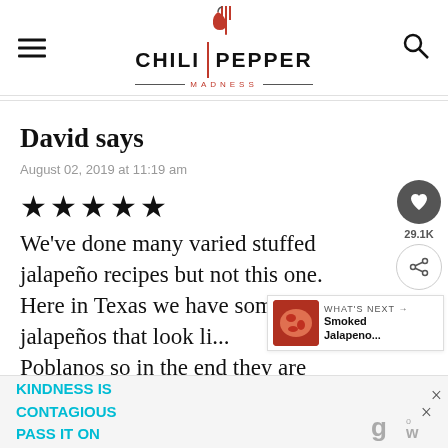CHILI | PEPPER MADNESS
David says
August 02, 2019 at 11:19 am
★★★★★
We've done many varied stuffed jalapeño recipes but not this one. Here in Texas we have some jalapeños that look li... Poblanos so in the end they are
[Figure (other): WHAT'S NEXT → Smoked Jalapeno... thumbnail]
KINDNESS IS CONTAGIOUS PASS IT ON